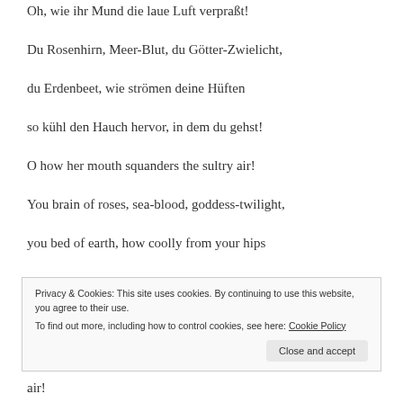Oh, wie ihr Mund die laue Luft verpraßt!
Du Rosenhirn, Meer-Blut, du Götter-Zwielicht,
du Erdenbeet, wie strömen deine Hüften
so kühl den Hauch hervor, in dem du gehst!
O how her mouth squanders the sultry air!
You brain of roses, sea-blood, goddess-twilight,
you bed of earth, how coolly from your hips
Privacy & Cookies: This site uses cookies. By continuing to use this website, you agree to their use. To find out more, including how to control cookies, see here: Cookie Policy
air!